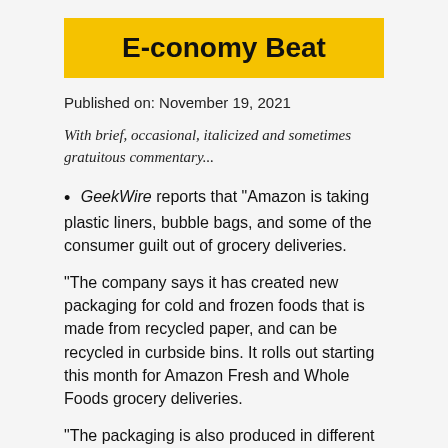E-conomy Beat
Published on: November 19, 2021
With brief, occasional, italicized and sometimes gratuitous commentary...
GeekWire reports that "Amazon is taking plastic liners, bubble bags, and some of the consumer guilt out of grocery deliveries.
"The company says it has created new packaging for cold and frozen foods that is made from recycled paper, and can be recycled in curbside bins. It rolls out starting this month for Amazon Fresh and Whole Foods grocery deliveries.
"The packaging is also produced in different regions of the United States, closer to the locations that will use it, further reducing